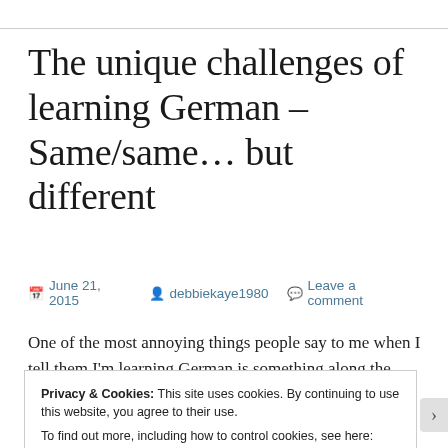The unique challenges of learning German – Same/same… but different
June 21, 2015   debbiekaye1980   Leave a comment
One of the most annoying things people say to me when I tell them I'm learning German is something along the
Privacy & Cookies: This site uses cookies. By continuing to use this website, you agree to their use.
To find out more, including how to control cookies, see here: Cookie Policy
Close and accept